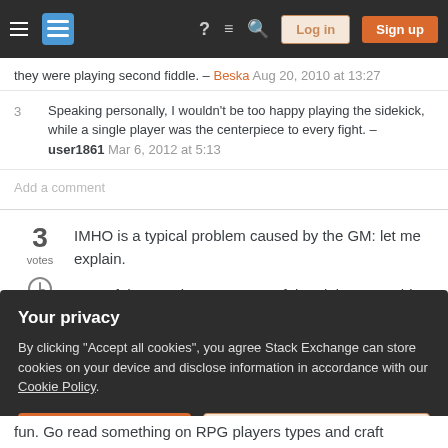[Figure (screenshot): Stack Exchange navigation bar with hamburger menu, logo, help icon, chat icon, search icon, Log in button, and Sign up button]
they were playing second fiddle. – Beska Aug 20, 2010 at 13:27
3 Speaking personally, I wouldn't be too happy playing the sidekick, while a single player was the centerpiece to every fight. – user1861 Mar 6, 2012 at 5:13
Add a comment
3 votes IMHO is a typical problem caused by the GM: let me explain.
One of the PCs is very successful at doing something, and
Your privacy
By clicking "Accept all cookies", you agree Stack Exchange can store cookies on your device and disclose information in accordance with our Cookie Policy.
Accept all cookies
Customize settings
fun. Go read something on RPG players types and craft